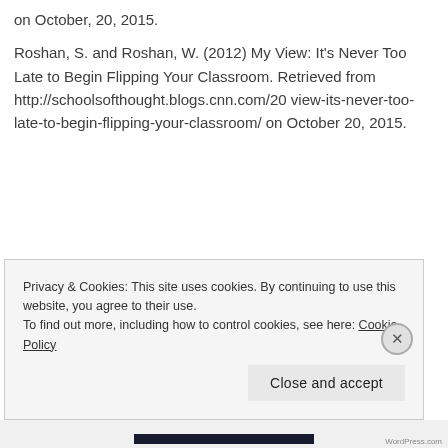on October, 20, 2015.
Roshan, S. and Roshan, W. (2012) My View: It's Never Too Late to Begin Flipping Your Classroom. Retrieved from http://schoolsofthought.blogs.cnn.com/20...view-its-never-too-late-to-begin-flipping-your-classroom/ on October 20, 2015.
Privacy & Cookies: This site uses cookies. By continuing to use this website, you agree to their use.
To find out more, including how to control cookies, see here: Cookie Policy